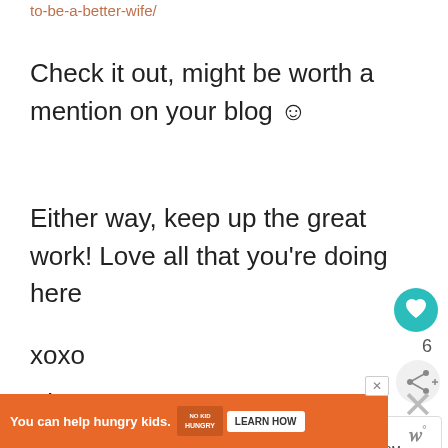to-be-a-better-wife/
Check it out, might be worth a mention on your blog ☺
Either way, keep up the great work! Love all that you're doing here
xoxo
Kim
Reply
[Figure (infographic): Heart like button (teal circle with heart icon), count of 6, and share button]
[Figure (infographic): What's Next arrow box with thumbnail and text: Am I doing this MOM...]
[Figure (infographic): Advertisement banner: You can help hungry kids. No Kid Hungry. Learn How button. With close X button.]